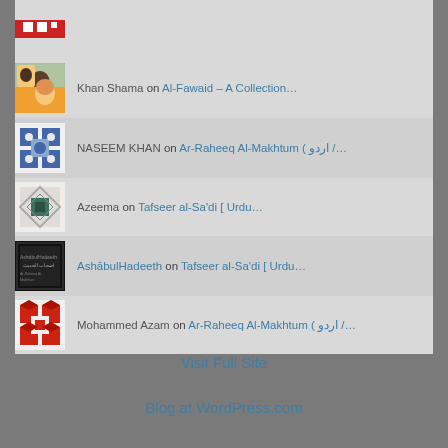Khan Shama on Al-Fawaid – A Collection…
NASEEM KHAN on Ar-Raheeq Al-Makhtum ( اردو /…
Azeema on Tafseer al-Sa'di [ Urdu…
AshābulHadeeth on Tafseer al-Sa'di [ Urdu…
Mohammed Azam on Ar-Raheeq Al-Makhtum ( اردو /…
Visit Full Site
Blog at WordPress.com